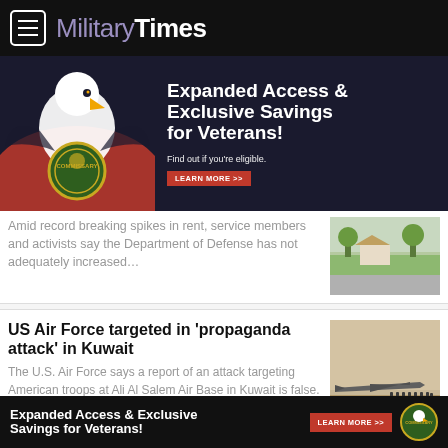Military Times
[Figure (photo): Commissary advertisement banner: bald eagle with Commissary badge, text 'Expanded Access & Exclusive Savings for Veterans! Find out if you're eligible. LEARN MORE >>']
Amid record breaking spikes in rent, service members and activists say the Department of Defense has not adequately increased…
[Figure (photo): Thumbnail photo of military housing cul-de-sac street]
US Air Force targeted in 'propaganda attack' in Kuwait
The U.S. Air Force says a report of an attack targeting American troops at Ali Al Salem Air Base in Kuwait is false.
[Figure (photo): Thumbnail photo of military aircraft on tarmac with personnel]
[Figure (photo): Bottom banner advertisement: Expanded Access & Exclusive Savings for Veterans! LEARN MORE >> with Commissary eagle logo]